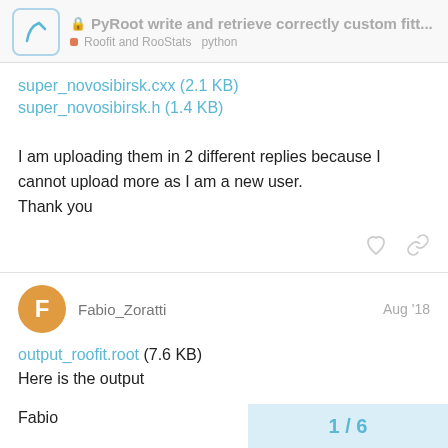PyRoot write and retrieve correctly custom fitt... | Roofit and RooStats python
super_novosibirsk.cxx (2.1 KB)
super_novosibirsk.h (1.4 KB)
I am uploading them in 2 different replies because I cannot upload more as I am a new user.
Thank you
Fabio_Zoratti  Aug '18
output_roofit.root (7.6 KB)
Here is the output

Fabio
1 / 6